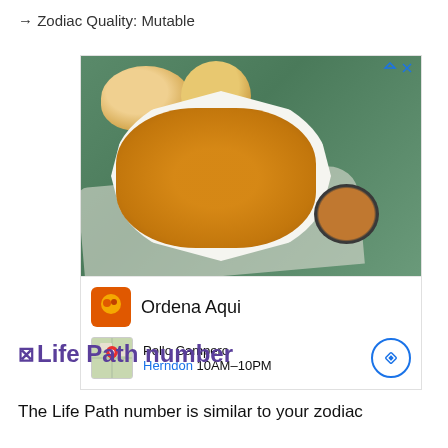→ Zodiac Quality: Mutable
[Figure (photo): Advertisement showing fried chicken nuggets on a white octagonal plate with dipping sauce and bread rolls in the background on a green surface. Ad for Pollo Campero restaurant with 'Ordena Aqui' text, location shown as Herndon 10AM-10PM.]
Life Path number
The Life Path number is similar to your zodiac